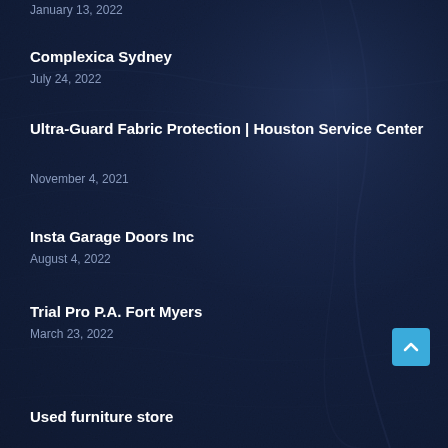January 13, 2022
Complexica Sydney
July 24, 2022
Ultra-Guard Fabric Protection | Houston Service Center
November 4, 2021
Insta Garage Doors Inc
August 4, 2022
Trial Pro P.A. Fort Myers
March 23, 2022
Used furniture store